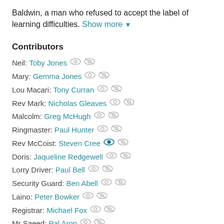Baldwin, a man who refused to accept the label of learning difficulties. Show more ▼
Contributors
Neil: Toby Jones
Mary: Gemma Jones
Lou Macari: Tony Curran
Rev Mark: Nicholas Gleaves
Malcolm: Greg McHugh
Ringmaster: Paul Hunter
Rev McCoist: Steven Cree
Doris: Jaqueline Redgewell
Lorry Driver: Paul Bell
Security Guard: Ben Abell
Laino: Peter Bowker
Registrar: Michael Fox
Mr Saeed: Pal Aron
Bomber: Oliver Ashworth
Paddy: Toby DeCann